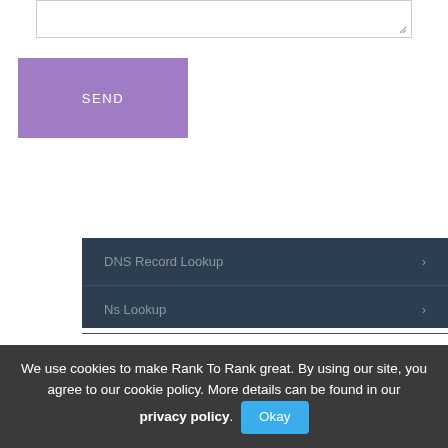[Figure (screenshot): Textarea input box with resize handle at bottom right]
SEND
DNS Record Lookup
Ns Lookup
IP Lookup
IP History
We use cookies to make Rank To Rank great. By using our site, you agree to our cookie policy. More details can be found in our privacy policy. Okay